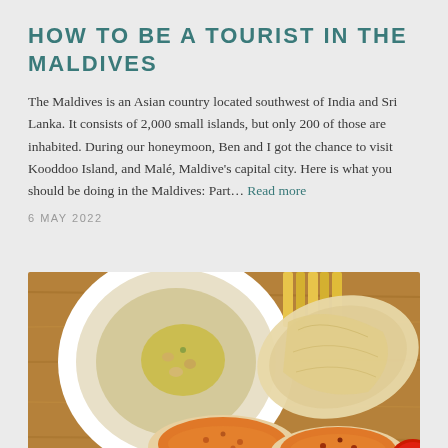HOW TO BE A TOURIST IN THE MALDIVES
The Maldives is an Asian country located southwest of India and Sri Lanka. It consists of 2,000 small islands, but only 200 of those are inhabited. During our honeymoon, Ben and I got the chance to visit Kooddoo Island, and Malé, Maldive's capital city. Here is what you should be doing in the Maldives: Part… Read more
6 MAY 2022
[Figure (photo): Overhead view of food on a wooden board: a white bowl with hummus drizzled with olive oil and chickpeas, french fries, large crispy papadums, and two open-faced flatbreads topped with orange spiced cheese or egg, with a small dipping sauce bowl.]